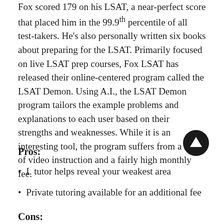Fox scored 179 on his LSAT, a near-perfect score that placed him in the 99.9th percentile of all test-takers. He's also personally written six books about preparing for the LSAT. Primarily focused on live LSAT prep courses, Fox LSAT has released their online-centered program called the LSAT Demon. Using A.I., the LSAT Demon program tailors the example problems and explanations to each user based on their strengths and weaknesses. While it is an interesting tool, the program suffers from a lack of video instruction and a fairly high monthly fee.
Pros:
I. tutor helps reveal your weakest area
Private tutoring available for an additional fee
Cons: